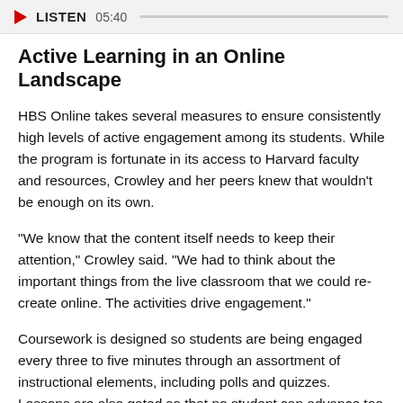[Figure (other): Audio player bar with play button, LISTEN label, time 05:40, and progress track]
Active Learning in an Online Landscape
HBS Online takes several measures to ensure consistently high levels of active engagement among its students. While the program is fortunate in its access to Harvard faculty and resources, Crowley and her peers knew that wouldn't be enough on its own.
"We know that the content itself needs to keep their attention," Crowley said. "We had to think about the important things from the live classroom that we could re-create online. The activities drive engagement."
Coursework is designed so students are being engaged every three to five minutes through an assortment of instructional elements, including polls and quizzes. Lessons are also gated so that no student can advance too far ahead of his or her peers. "That way there's always a community of